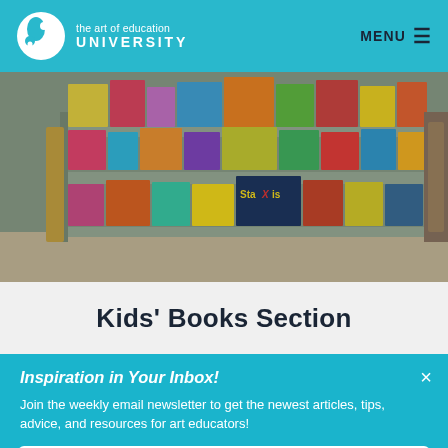the art of education UNIVERSITY — MENU
[Figure (photo): Shelves filled with colorful kids' book boxes and games in a library or classroom setting]
Kids' Books Section
Inspiration in Your Inbox!
Join the weekly email newsletter to get the newest articles, tips, advice, and resources for art educators!
SIGN ME UP